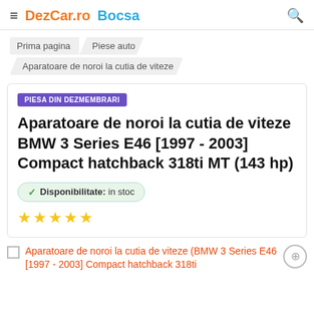≡ DezCar.ro Bocsa 🔍
Prima pagina / Piese auto
Aparatoare de noroi la cutia de viteze
PIESA DIN DEZMEMBRARI
Aparatoare de noroi la cutia de viteze BMW 3 Series E46 [1997 - 2003] Compact hatchback 318ti MT (143 hp)
Disponibilitate: in stoc
★★★★★
Aparatoare de noroi la cutia de viteze (BMW 3 Series E46 [1997 - 2003] Compact hatchback 318ti